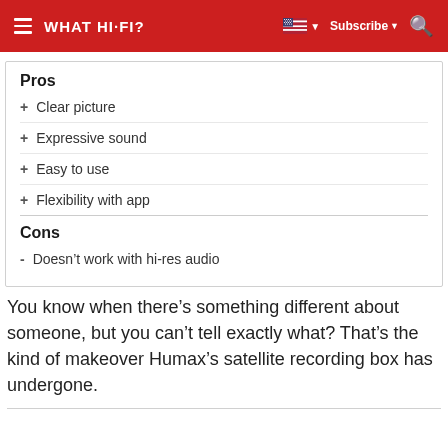WHAT HI-FI?
Pros
+ Clear picture
+ Expressive sound
+ Easy to use
+ Flexibility with app
Cons
- Doesn’t work with hi-res audio
You know when there’s something different about someone, but you can’t tell exactly what? That’s the kind of makeover Humax’s satellite recording box has undergone.